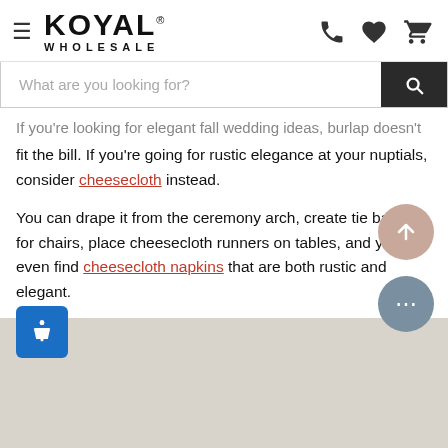KOYAL WHOLESALE
If you're looking for elegant fall wedding ideas, burlap doesn't fit the bill. If you're going for rustic elegance at your nuptials, consider cheesecloth instead.
You can drape it from the ceremony arch, create tie backs for chairs, place cheesecloth runners on tables, and you can even find cheesecloth napkins that are both rustic and elegant.
[Figure (photo): Bottom portion of page showing a light-colored fabric/cheesecloth texture image]